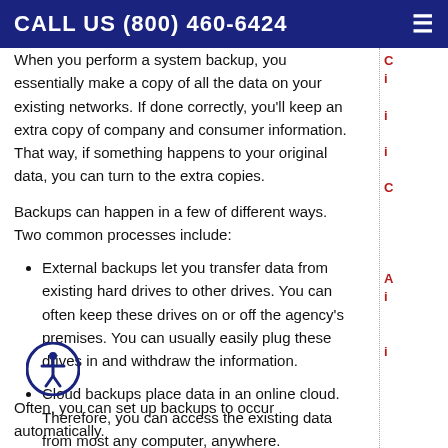CALL US (800) 460-6424
When you perform a system backup, you essentially make a copy of all the data on your existing networks. If done correctly, you'll keep an extra copy of company and consumer information. That way, if something happens to your original data, you can turn to the extra copies.
Backups can happen in a few of different ways. Two common processes include:
External backups let you transfer data from existing hard drives to other drives. You can often keep these drives on or off the agency's premises. You can usually easily plug these drives in and withdraw the information.
Cloud backups place data in an online cloud. Therefore, you can access the existing data from most any computer, anywhere.
Often, you can set up backups to occur automatically.